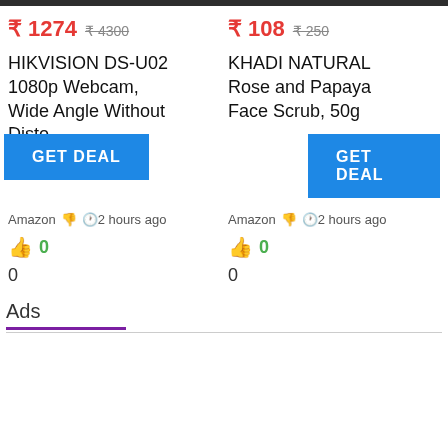₹ 1274  ₹ 4300
₹ 108  ₹ 250
HIKVISION DS-U02 1080p Webcam, Wide Angle Without Disto Reduction, Plug
GET DEAL
KHADI NATURAL Rose and Papaya Face Scrub, 50g
GET DEAL
Amazon  2 hours ago
Amazon  2 hours ago
👍 0
👍 0
0
0
Ads